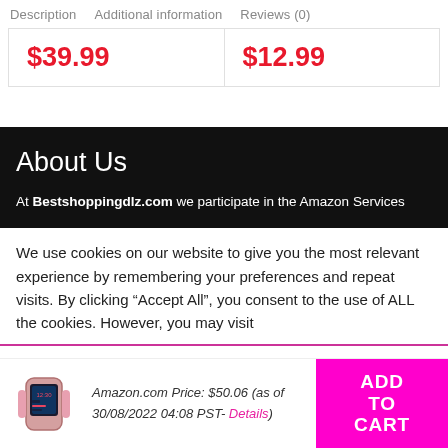Description   Additional information   Reviews (0)
| $39.99 | $12.99 |
About Us
At Bestshoppingdlz.com we participate in the Amazon Services
We use cookies on our website to give you the most relevant experience by remembering your preferences and repeat visits. By clicking “Accept All”, you consent to the use of ALL the cookies. However, you may visit
Amazon.com Price: $50.06 (as of 30/08/2022 04:08 PST- Details)
ADD TO CART